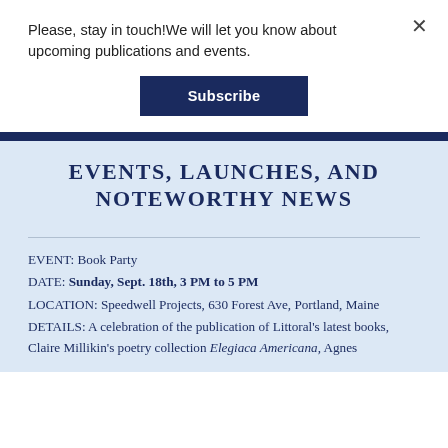Please, stay in touch!We will let you know about upcoming publications and events.
Subscribe
EVENTS, LAUNCHES, AND NOTEWORTHY NEWS
EVENT: Book Party
DATE: Sunday, Sept. 18th, 3 PM to 5 PM
LOCATION: Speedwell Projects, 630 Forest Ave, Portland, Maine
DETAILS: A celebration of the publication of Littoral's latest books, Claire Millikin's poetry collection Elegiaca Americana, Agnes